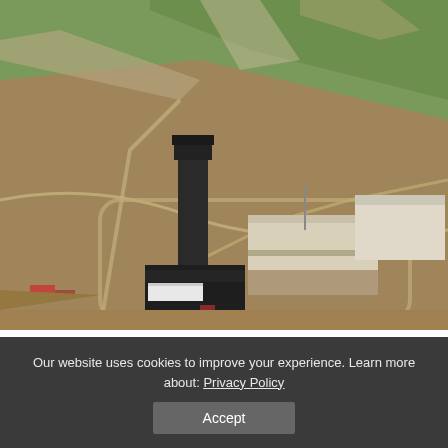[Figure (photo): Aerial photograph of an airport or airfield facility showing a tall dark control tower, terminal buildings, runways, taxiways, and surrounding brown and green landscape.]
(Image: jmiguel rodriguez, CC2)
Our website uses cookies to improve your experience. Learn more about: Privacy Policy
Accept